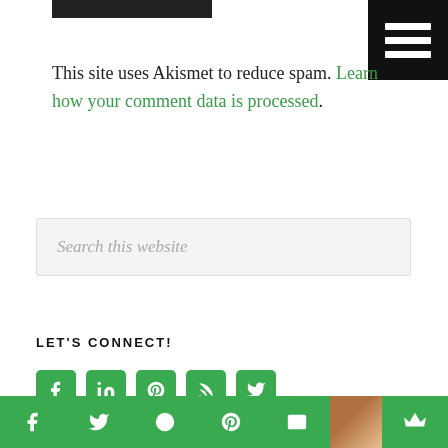[Figure (other): Black rectangle logo/header bar at top left]
[Figure (other): Black hamburger menu button at top right with three white horizontal lines]
This site uses Akismet to reduce spam. Learn how your comment data is processed.
[Figure (other): Search input box with placeholder text: Search this website]
LET'S CONNECT!
[Figure (other): Row of 5 green social media icon buttons: Facebook, LinkedIn, Pinterest, RSS, Twitter]
WHO IS KAYLA?
Bottom bar with green social sharing icons: f, twitter, G+, Pinterest, mail, crown, and a photo